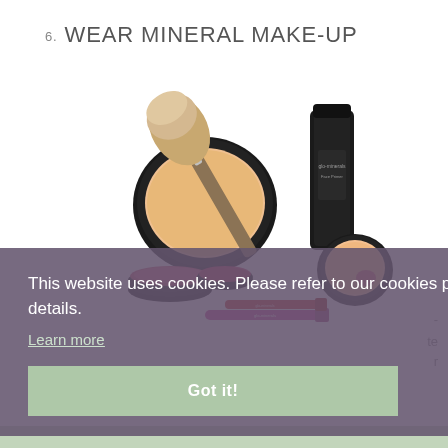6. WEAR MINERAL MAKE-UP
[Figure (photo): Collection of glo-minerals makeup products including powder compacts, a powder brush, a face primer tube, lipsticks and a blush compact arranged together]
This website uses cookies. Please refer to our cookies policy for full details.
Learn more
Got it!